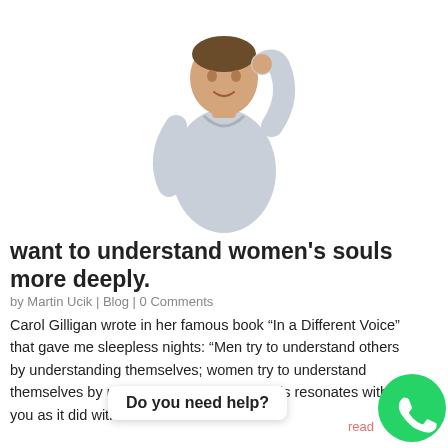[Figure (photo): A man in a light grey polo shirt scratching his head with one hand and the other on his hip, on a white background]
want to understand women's souls more deeply.
by Martin Ucik | Blog | 0 Comments
Carol Gilligan wrote in her famous book “In a Different Voice” that gave me sleepless nights: “Men try to understand others by understanding themselves; women try to understand themselves by understanding others.” If this resonates with you as it did with m
[Figure (other): WhatsApp chat widget with green icon and 'Do you need help?' bubble]
read